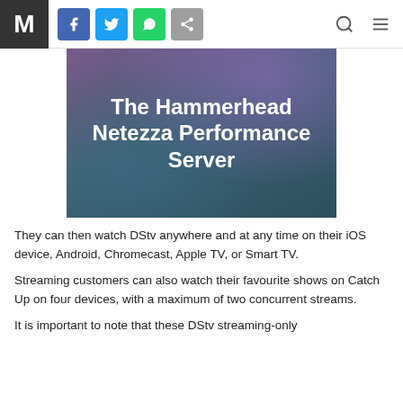M | f | Twitter | WhatsApp | Share | Search | Menu
[Figure (illustration): Hero image with dark teal/purple gradient background and title text: The Hammerhead Netezza Performance Server]
They can then watch DStv anywhere and at any time on their iOS device, Android, Chromecast, Apple TV, or Smart TV.
Streaming customers can also watch their favourite shows on Catch Up on four devices, with a maximum of two concurrent streams.
It is important to note that these DStv streaming-only